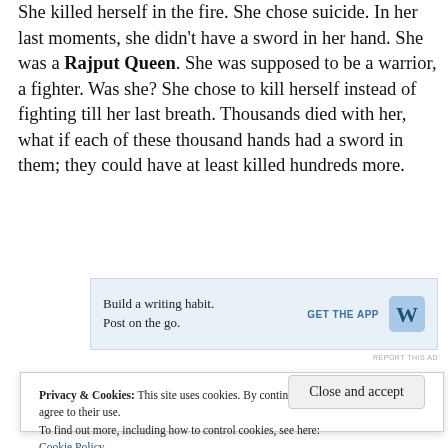She killed herself in the fire. She chose suicide. In her last moments, she didn't have a sword in her hand. She was a Rajput Queen. She was supposed to be a warrior, a fighter. Was she? She chose to kill herself instead of fighting till her last breath. Thousands died with her, what if each of these thousand hands had a sword in them; they could have at least killed hundreds more.
[Figure (other): WordPress app advertisement banner with text 'Build a writing habit. Post on the go.' and GET THE APP button with WordPress logo]
Privacy & Cookies: This site uses cookies. By continuing to use this website, you agree to their use.
To find out more, including how to control cookies, see here: Cookie Policy
Close and accept